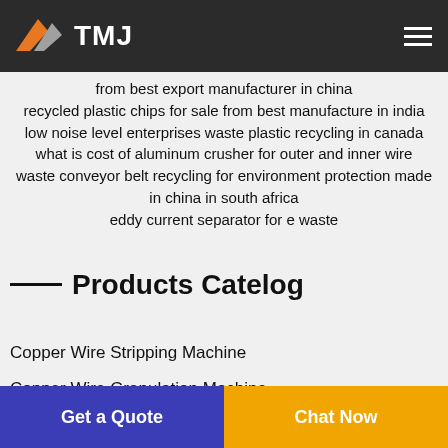TMJ
from best export manufacturer in china
recycled plastic chips for sale from best manufacture in india
low noise level enterprises waste plastic recycling in canada
what is cost of aluminum crusher for outer and inner wire
waste conveyor belt recycling for environment protection made in china in south africa
eddy current separator for e waste
Products Catelog
Copper Wire Stripping Machine
Copper Wire Granulation Machine
Get a Quote   Chat Now